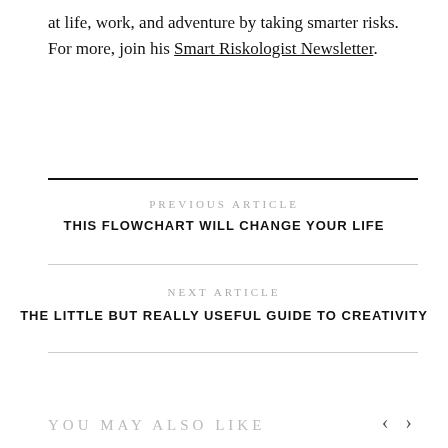at life, work, and adventure by taking smarter risks. For more, join his Smart Riskologist Newsletter.
PREVIOUS ARTICLE
THIS FLOWCHART WILL CHANGE YOUR LIFE
NEXT ARTICLE
THE LITTLE BUT REALLY USEFUL GUIDE TO CREATIVITY
YOU MAY ALSO LIKE